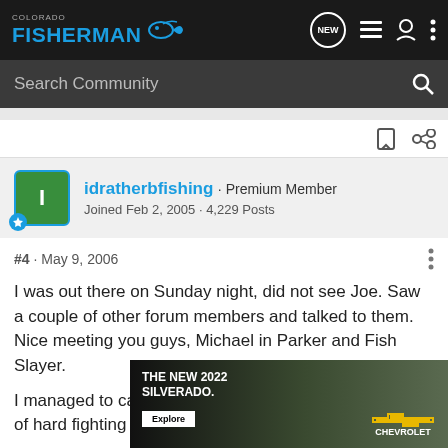Colorado Fisherman — navigation bar with logo, NEW, list, user, and more icons
Search Community
idratherbfishing · Premium Member
Joined Feb 2, 2005 · 4,229 Posts
#4 · May 9, 2006
I was out there on Sunday night, did not see Joe. Saw a couple of other forum members and talked to them. Nice meeting you guys, Michael in Parker and Fish Slayer.
I managed to catch a few fish, no walleye but a couple of hard fighting [obscured] eet under a [obscured] eech
[Figure (photo): Chevrolet Silverado 2022 advertisement banner showing truck in outdoor setting with text 'THE NEW 2022 SILVERADO.' and Explore button and Chevrolet logo]